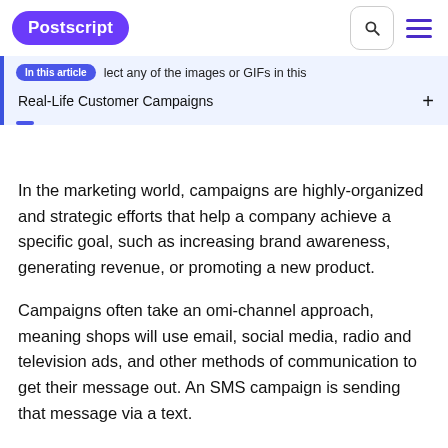Postscript
Real-Life Customer Campaigns
In the marketing world, campaigns are highly-organized and strategic efforts that help a company achieve a specific goal, such as increasing brand awareness, generating revenue, or promoting a new product.
Campaigns often take an omi-channel approach, meaning shops will use email, social media, radio and television ads, and other methods of communication to get their message out. An SMS campaign is sending that message via a text.